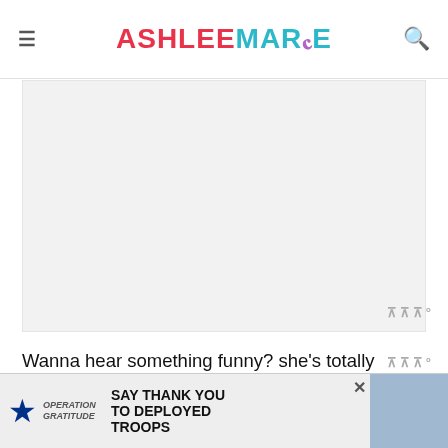ASHLEE MARIE
[Figure (other): Large image placeholder area (light gray box representing a photo)]
Wanna hear something funny? she's totally thinned out in this picture from the few months before! It's kind of sad when they start moving and shaking and thinning out like this. She had the worl best baby thighs (she still does, but... it's
[Figure (other): Operation Gratitude advertisement banner: SAY THANK YOU TO DEPLOYED TROOPS]